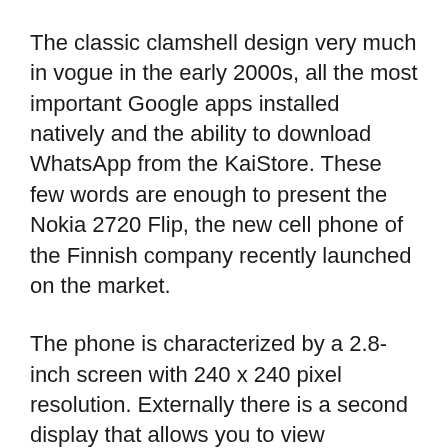The classic clamshell design very much in vogue in the early 2000s, all the most important Google apps installed natively and the ability to download WhatsApp from the KaiStore. These few words are enough to present the Nokia 2720 Flip, the new cell phone of the Finnish company recently launched on the market.
The phone is characterized by a 2.8-inch screen with 240 x 240 pixel resolution. Externally there is a second display that allows you to view notifications. On board we find a Snapdragon 205 chipset with 512MB of RAM and 4GB of internal memory expandable up to 32GB. The phone can also connect to the Internet, thanks to the